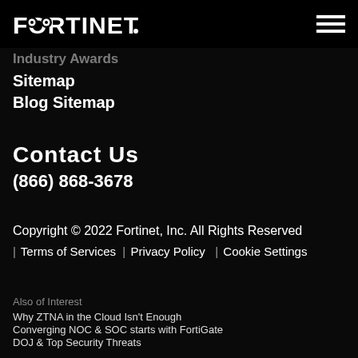FORTINET
Industry Awards
Sitemap
Blog Sitemap
Contact Us
(866) 868-3678
Copyright © 2022 Fortinet, Inc. All Rights Reserved
| Terms of Services  | Privacy Policy  | Cookie Settings
Also of Interest
Why ZTNA in the Cloud Isn't Enough
Converging NOC & SOC starts with FortiGate
DOJ & Top Security Threats